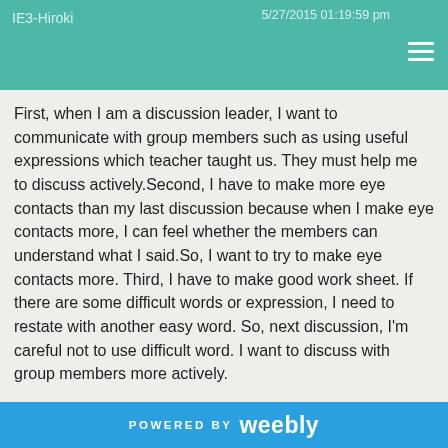IE3-Hiroki   5/27/2015 01:19:59 pm
First, when I am a discussion leader, I want to communicate with group members such as using useful expressions which teacher taught us. They must help me to discuss actively.Second, I have to make more eye contacts than my last discussion because when I make eye contacts more, I can feel whether the members can understand what I said.So, I want to try to make eye contacts more. Third, I have to make good work sheet. If there are some difficult words or expression, I need to restate with another easy word. So, next discussion, I'm careful not to use difficult word. I want to discuss with group members more actively.
Reply
IEIII-Haruna   5/27/2015 01:52:17 pm
Our first preparing for discussion finished, I thought I should know about my fellows.
I could not talk a lot of things because I could not grab their
POWERED BY weebly